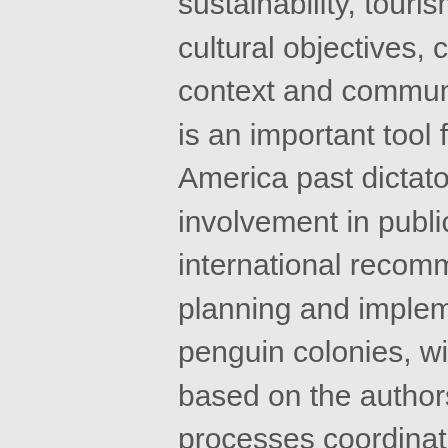sustainability, tourism, education, recreational and cultural objectives, considering the socio-economic context and community values. Participatory planning is an important tool for success. However, in Latin America past dictatorial governments delayed citizen involvement in public issues. Our goal was to analyse international recommendations for successful planning and implementation in CMPA, including penguin colonies, within the Patagonian coastal zone based on the authors experience in planning processes coordination , and proposing alternatives to solve critical aspects. Crucial identified aspects include: political support, stake-holders involvement, inclusion of science, effective design, efficient governability, and regular monitoring. Social aspects that affect stakeholders involvement (acceptability, ignorance of CMPA benefits and limitations, opposed positions that difficult consensus, mistrust in participatory processes, late invitation of key stakeholders) require particular strategies for its resolution (sensitisation, information, processes based on rational negotiation, transparency from the